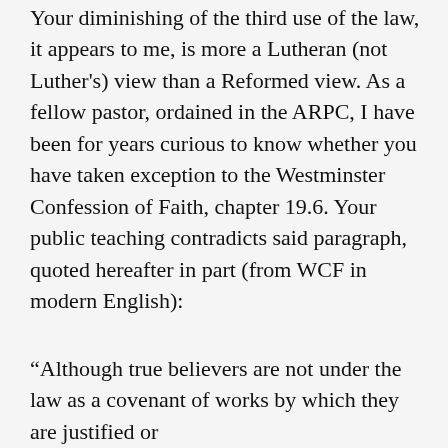Your diminishing of the third use of the law, it appears to me, is more a Lutheran (not Luther's) view than a Reformed view. As a fellow pastor, ordained in the ARPC, I have been for years curious to know whether you have taken exception to the Westminster Confession of Faith, chapter 19.6. Your public teaching contradicts said paragraph, quoted hereafter in part (from WCF in modern English):
“Although true believers are not under the law as a covenant of works by which they are justified or